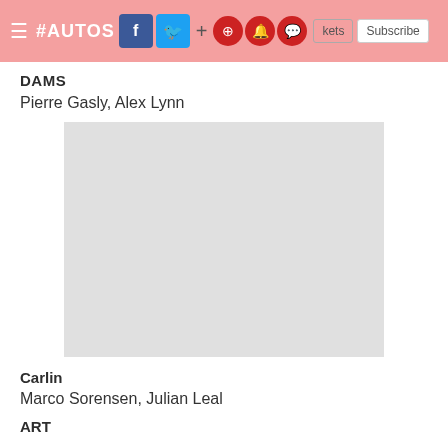#AUTOSPORT + tickets Subscribe
DAMS
Pierre Gasly, Alex Lynn
[Figure (photo): Placeholder image for DAMS team photo]
Carlin
Marco Sorensen, Julian Leal
ART